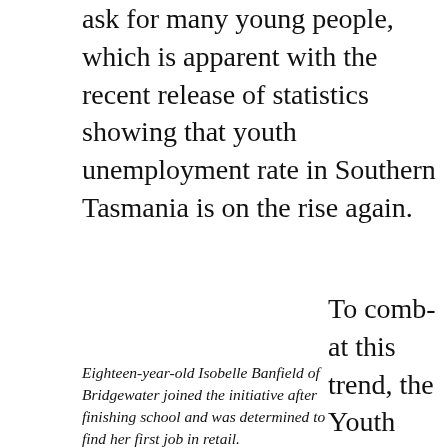ask for many young people, which is apparent with the recent release of statistics showing that youth unemployment rate in Southern Tasmania is on the rise again.
To combat this trend, the Youth Entrepreneurial Services
Eighteen-year-old Isobelle Banfield of Bridgewater joined the initiative after finishing school and was determined to find her first job in retail.